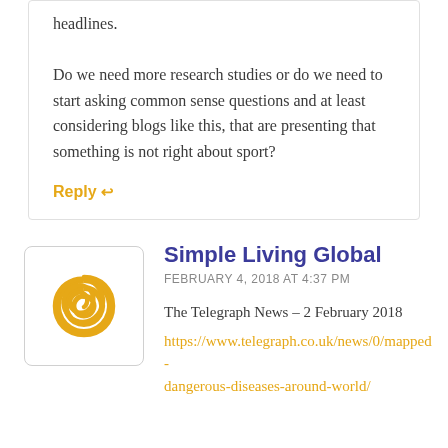headlines.
Do we need more research studies or do we need to start asking common sense questions and at least considering blogs like this, that are presenting that something is not right about sport?
Reply ↩
[Figure (logo): Simple Living Global logo: golden spiral on white background with light border]
Simple Living Global
FEBRUARY 4, 2018 AT 4:37 PM
The Telegraph News – 2 February 2018
https://www.telegraph.co.uk/news/0/mapped-dangerous-diseases-around-world/